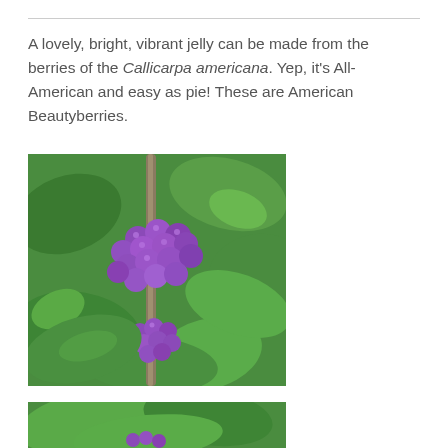A lovely, bright, vibrant jelly can be made from the berries of the Callicarpa americana. Yep, it's All-American and easy as pie! These are American Beautyberries.
[Figure (photo): Close-up photograph of American Beautyberries (Callicarpa americana) showing clusters of bright purple/violet berries on stems surrounded by large green leaves.]
[Figure (photo): Partial photograph showing green leaves of the American Beautyberry plant, cropped at bottom of page.]